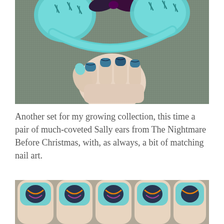[Figure (photo): A hand holding a light blue Sally (Nightmare Before Christmas) themed Mickey Mouse ear headband with teal stitching details and a dark bow. The nails are painted with a matching dark blue/teal nail art design with stitching patterns.]
Another set for my growing collection, this time a pair of much-coveted Sally ears from The Nightmare Before Christmas, with, as always, a bit of matching nail art.
[Figure (photo): Close-up of fingernails painted with light blue/teal base and a dark swirling design, matching the Sally ears theme from The Nightmare Before Christmas.]